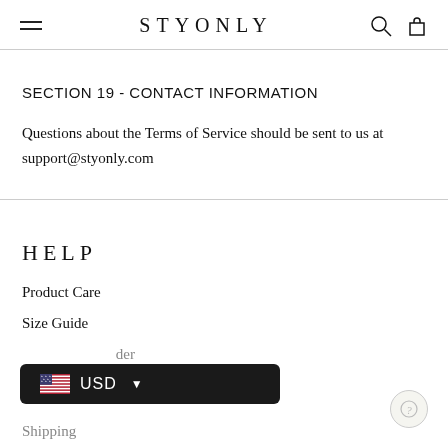STYONLY
SECTION 19 - CONTACT INFORMATION
Questions about the Terms of Service should be sent to us at support@styonly.com
HELP
Product Care
Size Guide
Track your order
Shipping